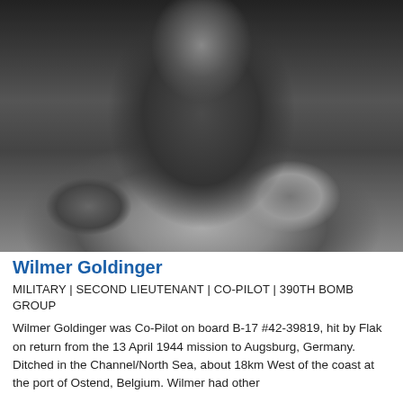[Figure (photo): Black and white photograph of Wilmer Goldinger, a military airman wearing a leather flight jacket, sitting in a relaxed pose.]
Wilmer Goldinger
MILITARY | SECOND LIEUTENANT | CO-PILOT | 390TH BOMB GROUP
Wilmer Goldinger was Co-Pilot on board B-17 #42-39819, hit by Flak on return from the 13 April 1944 mission to Augsburg, Germany. Ditched in the Channel/North Sea, about 18km West of the coast at the port of Ostend, Belgium. Wilmer had other